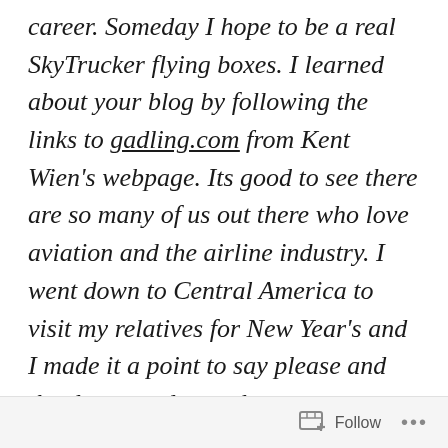pursuit flying career. Someday I hope to be a real SkyTrucker flying boxes. I learned about your blog by following the links to gadling.com from Kent Wien's webpage. Its good to see there are so many of us out there who love aviation and the airline industry. I went down to Central America to visit my relatives for New Year's and I made it a point to say please and thank you and to make eye contact with the FA's on my flights because you suggested we (passengers) do so. I sometimes get some of those rude people you refer to on your blog on
Follow ...